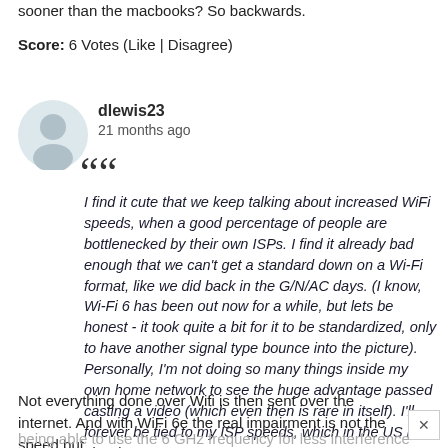sooner than the macbooks? So backwards.
Score: 6 Votes (Like | Disagree)
dlewis23
21 months ago
I find it cute that we keep talking about increased WiFi speeds, when a good percentage of people are bottlenecked by their own ISPs. I find it already bad enough that we can't get a standard down on a Wi-Fi format, like we did back in the G/N/AC days. (I know, Wi-Fi 6 has been out now for a while, but lets be honest - it took quite a bit for it to be standardized, only to have another signal type bounce into the picture). Personally, I'm not doing so many things inside my own home network to see the huge advantage passed casting a video (which even then is rare in itself). I'll forever be tied to my ISP speeds, which in the US is slow by nature.
Not everything done over Wifi is then sent over the internet. And with WiFi 6e the real impairment is not the speed but
being able to use the 6 GHz frequency for less interference which for a lot of people in congested areas can't max their internet connection speed even when its only 50 or 100 Mbps